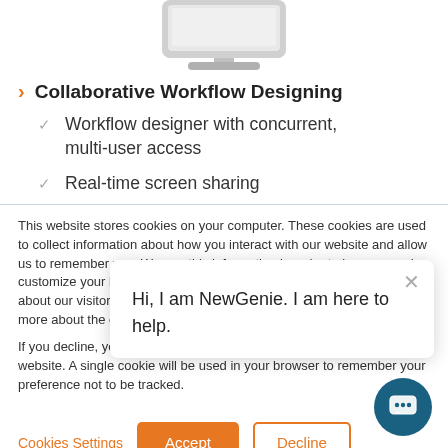[Figure (illustration): Partial view of a computer monitor/iMac from the top of the page]
Collaborative Workflow Designing
Workflow designer with concurrent, multi-user access
Real-time screen sharing
This website stores cookies on your computer. These cookies are used to collect information about how you interact with our website and allow us to remember you. We use this information in order to improve and customize your browsing experience and for analytics and metrics about our visitors both on this website and other media. To find out more about the cookies we use, see our Privacy Policy.
If you decline, your information won't be tracked when you visit this website. A single cookie will be used in your browser to remember your preference not to be tracked.
Hi, I am NewGenie. I am here to help.
Cookies Settings   Accept   Decline